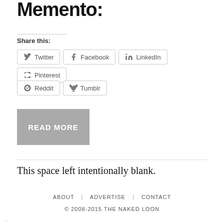Memento:
Share this:
Twitter | Facebook | LinkedIn | Pinterest | Reddit | Tumblr
READ MORE
This space left intentionally blank.
ABOUT | ADVERTISE | CONTACT
© 2008-2015 THE NAKED LOON